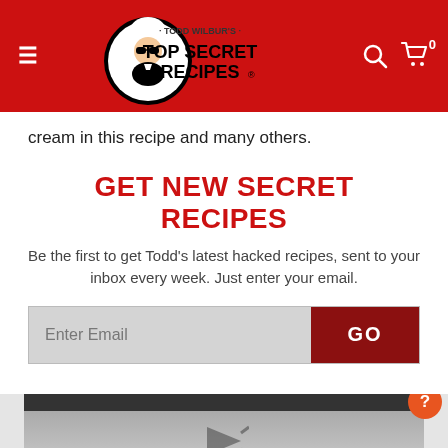Todd Wilbur's Top Secret Recipes
cream in this recipe and many others.
GET NEW SECRET RECIPES
Be the first to get Todd's latest hacked recipes, sent to your inbox every week. Just enter your email.
Enter Email  GO
MY LATEST VIDEOS
[Figure (screenshot): Video thumbnail preview with dark top bar and play button arrow]